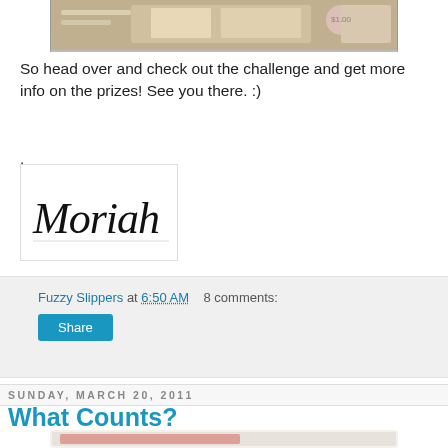[Figure (photo): Partial view of craft/prize items photo at top of page]
So head over and check out the challenge and get more info on the prizes!  See you there. :)
.
[Figure (photo): Handwritten signature reading 'Moriah']
Fuzzy Slippers at 6:50 AM   8 comments:
Share
Sunday, March 20, 2011
What Counts?
[Figure (photo): Colorful decorative box or journal with pink and yellow tones and a metal clasp, shown on white background]